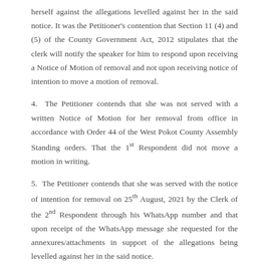herself against the allegations levelled against her in the said notice. It was the Petitioner's contention that Section 11 (4) and (5) of the County Government Act, 2012 stipulates that the clerk will notify the speaker for him to respond upon receiving a Notice of Motion of removal and not upon receiving notice of intention to move a motion of removal.
4. The Petitioner contends that she was not served with a written Notice of Motion for her removal from office in accordance with Order 44 of the West Pokot County Assembly Standing orders. That the 1st Respondent did not move a motion in writing.
5. The Petitioner contends that she was served with the notice of intention for removal on 25th August, 2021 by the Clerk of the 2nd Respondent through his WhatsApp number and that upon receipt of the WhatsApp message she requested for the annexures/attachments in support of the allegations being levelled against her in the said notice.